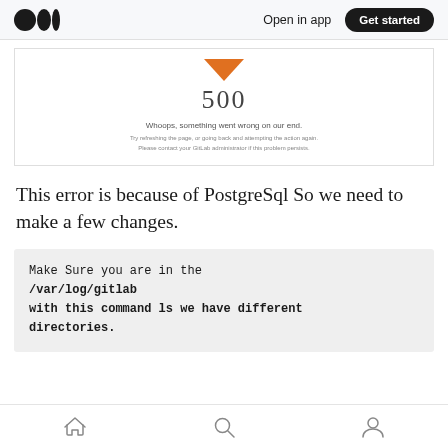Open in app  Get started
[Figure (screenshot): GitLab 500 error page showing a downward orange arrow, the number 500, text 'Whoops, something went wrong on our end.' and 'Try refreshing the page, or going back and attempting the action again. Please contact your GitLab administrator if this problem persists.']
This error is because of PostgreSql So we need to make a few changes.
Make Sure you are in the /var/log/gitlab with this command ls we have different directories.
Home  Search  Profile